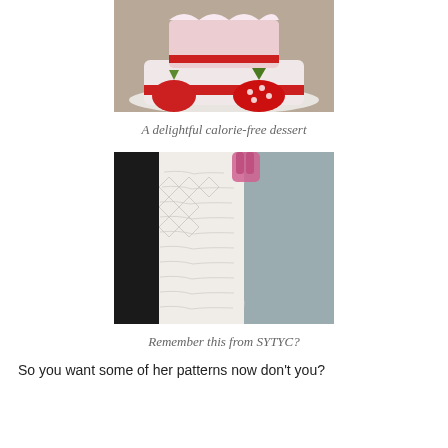[Figure (photo): A fabric strawberry cake with red ribbon and fabric strawberries on a white plate]
A delightful calorie-free dessert
[Figure (photo): A close-up of a textured white fabric being cut or handled, with a pink glove visible, from SYTYC]
Remember this from SYTYC?
So you want some of her patterns now don't you?